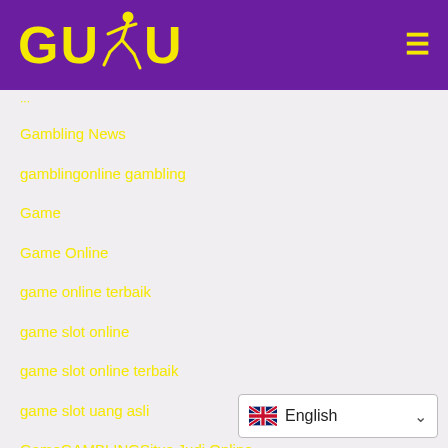[Figure (logo): GUDU logo with yellow text and runner icon on purple background, with hamburger menu icon]
Gambling News
gamblingonline gambling
Game
Game Online
game online terbaik
game slot online
game slot online terbaik
game slot uang asli
GameGAMBLINGSitus Judi Online
Games
gameslotapk
gaming
[Figure (screenshot): Language selector dropdown showing English with UK flag]